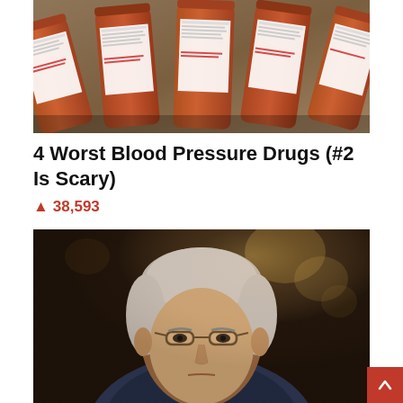[Figure (photo): Multiple orange prescription pill/medicine bottles with white labels lined up on a surface, viewed from above at an angle]
4 Worst Blood Pressure Drugs (#2 Is Scary)
🔥 38,593
[Figure (photo): Close-up portrait of an older man with gray hair wearing glasses and a suit, looking upward with a serious expression, blurred bokeh background]